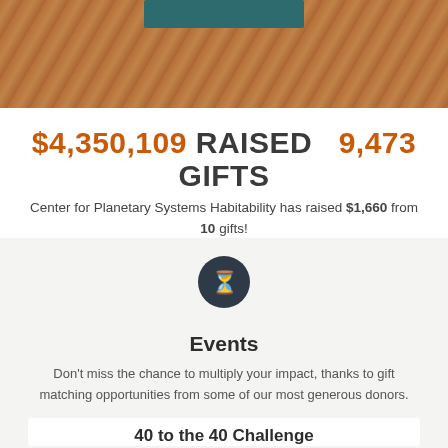[Figure (photo): Background photo of rocky terrain in warm brown/orange tones with a teal-colored label/bar in the center top area]
$4,350,109 RAISED   9,473 GIFTS
Center for Planetary Systems Habitability has raised $1,660 from 10 gifts!
[Figure (illustration): Dark circular icon with an hourglass/timer symbol inside]
Events
Don't miss the chance to multiply your impact, thanks to gift matching opportunities from some of our most generous donors.
Past Events
40 to the 40 Challenge